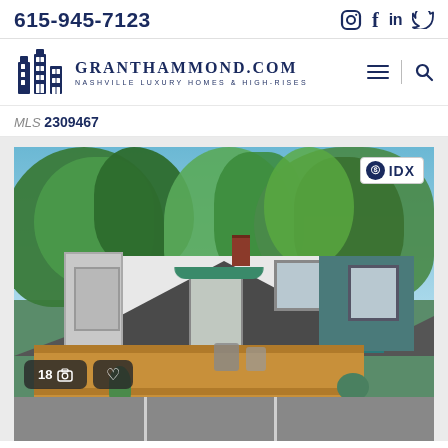615-945-7123
[Figure (logo): GrantHammond.com Nashville Luxury Homes & High-Rises logo with building icon]
MLS 2309467
[Figure (photo): Exterior photo of a single-story house with a large wooden deck, green awning over entrance, blue trim, surrounded by trees. Shows parking area in foreground. IDX badge in top right. Photo count shows 18 photos.]